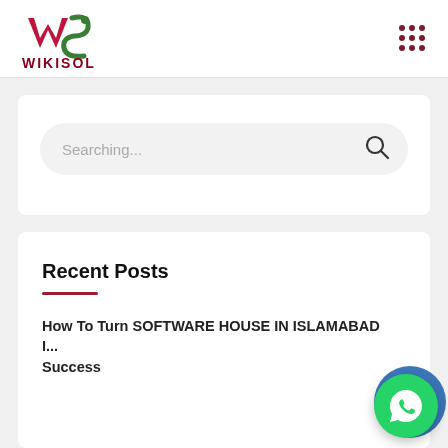[Figure (logo): Wikisol logo with stylized W and S in red/green colors, text WIKISOL below in dark red]
[Figure (other): 3x3 grid of dark red/maroon dots forming a menu icon in the top right corner]
Searching...
Recent Posts
How To Turn SOFTWARE HOUSE IN ISLAMABAD I... Success